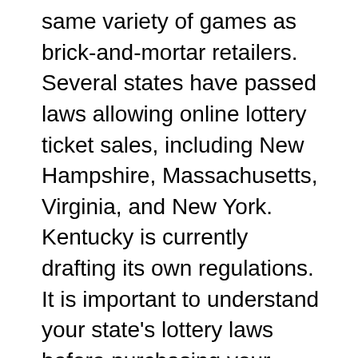same variety of games as brick-and-mortar retailers. Several states have passed laws allowing online lottery ticket sales, including New Hampshire, Massachusetts, Virginia, and New York. Kentucky is currently drafting its own regulations. It is important to understand your state's lottery laws before purchasing your tickets online. So, you'll know which sites are safest and most reliable.
Michigan is the latest state to launch its lottery. There are eight in-house games and three multi-state games to choose from. The state lottery directs more than $1 billion to school aid every year. If you're looking for a lottery to play in Michigan, you'll have plenty of choices. You can